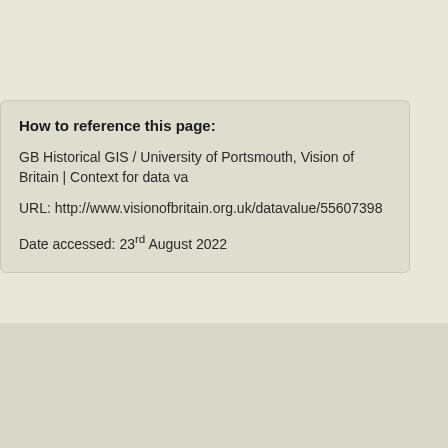How to reference this page:
GB Historical GIS / University of Portsmouth, Vision of Britain | Context for data va
URL: http://www.visionofbritain.org.uk/datavalue/55607398
Date accessed: 23rd August 2022
Back to top | ©2009-2017 University of Portsmouth and others | About this site | Expert search | Web